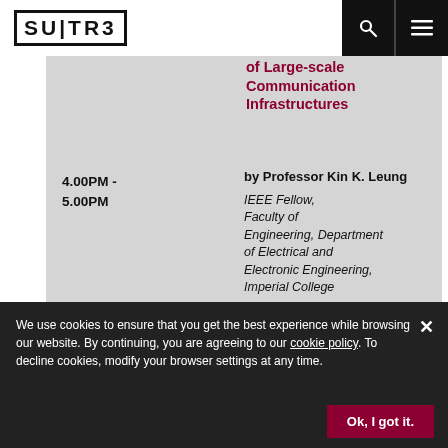SUITA
of Large-scale Communication Infrastructures
4.00PM - 5.00PM
by Professor Kin K. Leung
IEEE Fellow, Faculty of Engineering, Department of Electrical and Electronic Engineering, Imperial College
We use cookies to ensure that you get the best experience while browsing our website. By continuing, you are agreeing to our cookie policy. To decline cookies, modify your browser settings at any time.
Continuous Innovation of Wireless Networks from 5G to 6G